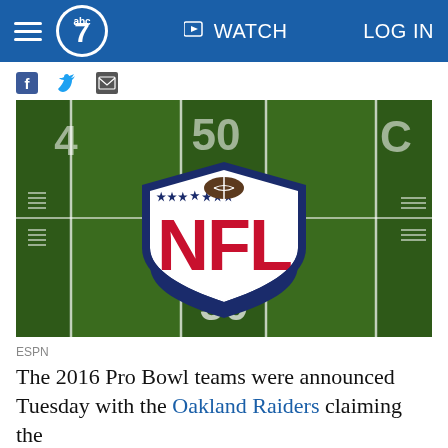ABC7 | WATCH | LOG IN
[Figure (photo): NFL logo painted on a football field at the 50-yard line, viewed from above. The green grass field shows yard lines and the large NFL shield logo in the center with red letters and navy border, on a white background within the shield. The number 50 is visible at the bottom.]
ESPN
The 2016 Pro Bowl teams were announced Tuesday with the Oakland Raiders claiming the most picks...